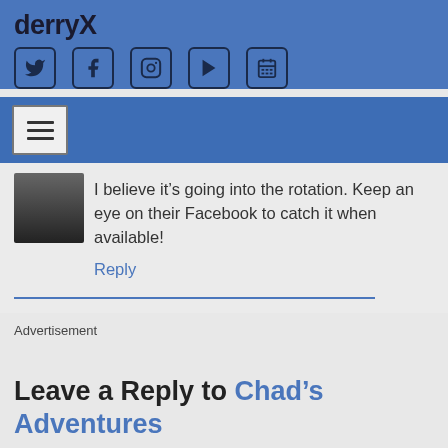derryX
[Figure (screenshot): Social media icon buttons: Twitter, Facebook, Instagram, YouTube/Play, Calendar in a blue header bar]
[Figure (screenshot): Navigation bar with hamburger menu button]
I believe it's going into the rotation. Keep an eye on their Facebook to catch it when available!
Reply
Advertisement
Leave a Reply to Chad's Adventures